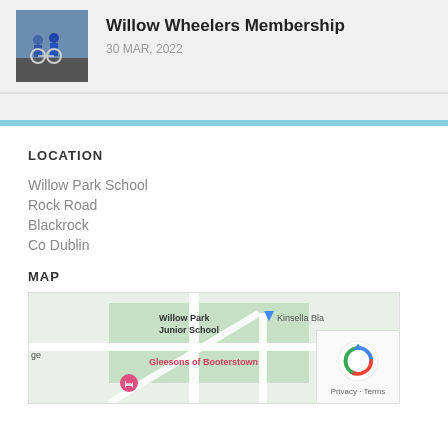Willow Wheelers Membership
30 MAR, 2022
LOCATION
Willow Park School
Rock Road
Blackrock
Co Dublin
MAP
[Figure (map): Google Maps showing Willow Park Junior School area, Gleesons of Booterstown, Kinsella Bla[ckrock], road R118 visible]